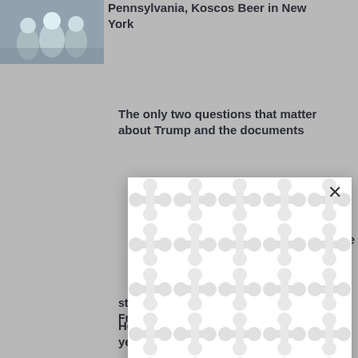[Figure (photo): Thumbnail photo showing people at a gathering or event, partially visible in top-left corner]
Pennsylvania, Koscos Beer in New York
The only two questions that matter about Trump and the documents
[Figure (screenshot): White modal/overlay dialog with a repeating curved dumbbell/bone-shaped pattern in light gray on white background, with an X close button in the top-right corner]
climate
st Frontier
He was Congress' barber for 50 years. Now he's hanging up his